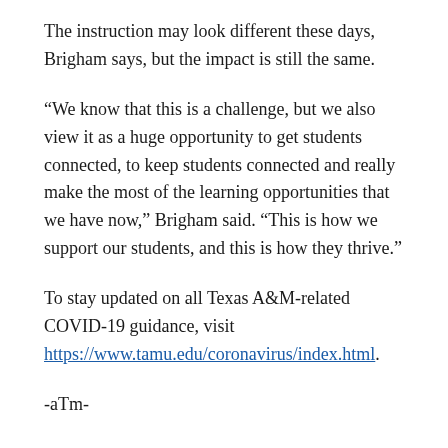The instruction may look different these days, Brigham says, but the impact is still the same.
“We know that this is a challenge, but we also view it as a huge opportunity to get students connected, to keep students connected and really make the most of the learning opportunities that we have now,” Brigham said. “This is how we support our students, and this is how they thrive.”
To stay updated on all Texas A&M-related COVID-19 guidance, visit https://www.tamu.edu/coronavirus/index.html.
-aTm-